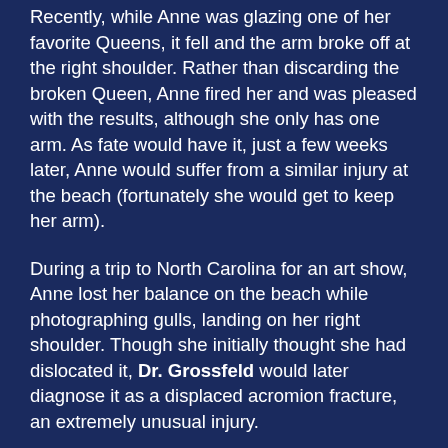Recently, while Anne was glazing one of her favorite Queens, it fell and the arm broke off at the right shoulder. Rather than discarding the broken Queen, Anne fired her and was pleased with the results, although she only has one arm. As fate would have it, just a few weeks later, Anne would suffer from a similar injury at the beach (fortunately she would get to keep her arm).
During a trip to North Carolina for an art show, Anne lost her balance on the beach while photographing gulls, landing on her right shoulder. Though she initially thought she had dislocated it, Dr. Grossfeld would later diagnose it as a displaced acromion fracture, an extremely unusual injury.
Luckily, with the right preventative measures, exercises and physical therapy, Anne has been able